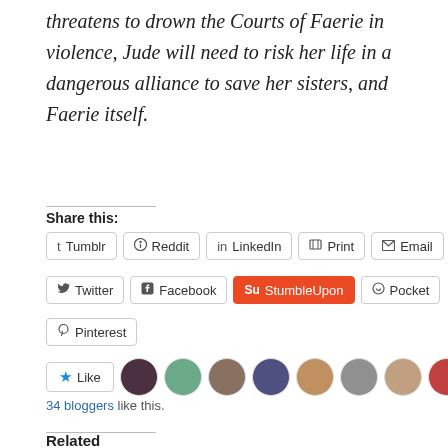threatens to drown the Courts of Faerie in violence, Jude will need to risk her life in a dangerous alliance to save her sisters, and Faerie itself.
Share this:
Tumblr
Reddit
LinkedIn
Print
Email
Twitter
Facebook
StumbleUpon
Pocket
Pinterest
34 bloggers like this.
Related